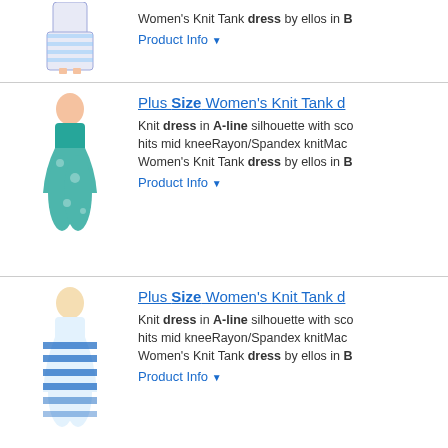[Figure (photo): Woman in blue/white dress, cropped at top, partial view]
Women's Knit Tank dress by ellos in B
Product Info ▼
[Figure (photo): Woman in teal floral knit tank dress]
Plus Size Women's Knit Tank d
Knit dress in A-line silhouette with sco hits mid kneeRayon/Spandex knitMach Women's Knit Tank dress by ellos in B
Product Info ▼
[Figure (photo): Woman in blue/white striped knit tank dress]
Plus Size Women's Knit Tank d
Knit dress in A-line silhouette with sco hits mid kneeRayon/Spandex knitMach Women's Knit Tank dress by ellos in B
Product Info ▼
[Figure (photo): Woman in teal floral knit tank dress]
Plus Size Women's Knit Tank d
Knit dress in A-line silhouette with sco hits mid kneeRayon/Spandex knitMach Women's Knit Tank dress by ellos in B
Product Info ▼
[Figure (photo): Woman in teal floral knit tank dress]
Plus Size Women's Knit Tank d
Knit dress in A-line silhouette with sco hits mid kneeRayon/Spandex knitMach Women's Knit Tank dress by ellos in B
Product Info ▼